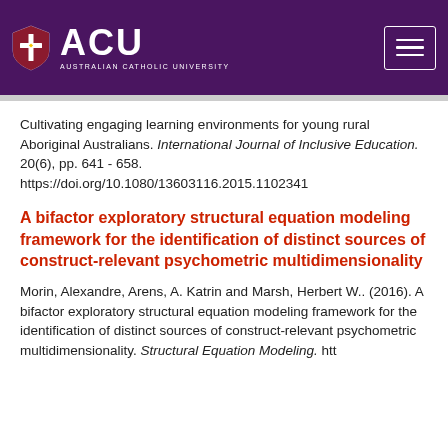[Figure (logo): Australian Catholic University (ACU) logo with shield icon and hamburger menu button on purple background header bar]
Cultivating engaging learning environments for young rural Aboriginal Australians. International Journal of Inclusive Education. 20(6), pp. 641 - 658. https://doi.org/10.1080/13603116.2015.1102341
A bifactor exploratory structural equation modeling framework for the identification of distinct sources of construct-relevant psychometric multidimensionality
Morin, Alexandre, Arens, A. Katrin and Marsh, Herbert W.. (2016). A bifactor exploratory structural equation modeling framework for the identification of distinct sources of construct-relevant psychometric multidimensionality. Structural Equation Modeling. htt